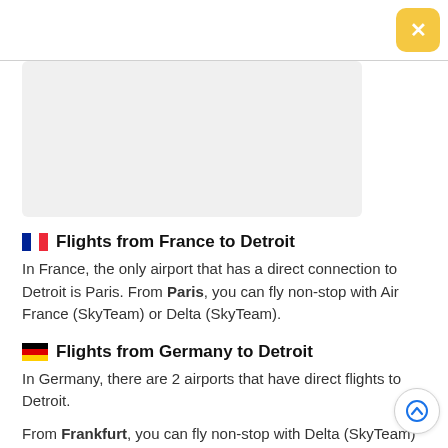[Figure (other): Gray placeholder rectangle for an image]
Flights from France to Detroit
In France, the only airport that has a direct connection to Detroit is Paris. From Paris, you can fly non-stop with Air France (SkyTeam) or Delta (SkyTeam).
Flights from Germany to Detroit
In Germany, there are 2 airports that have direct flights to Detroit.
From Frankfurt, you can fly non-stop with Delta (SkyTeam)